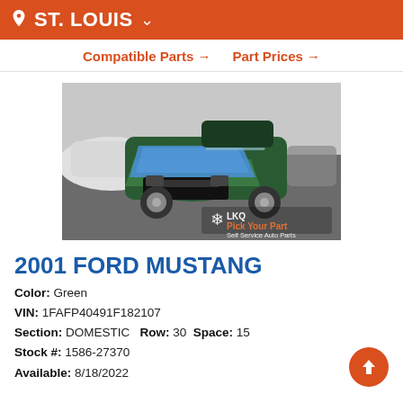ST. LOUIS
Compatible Parts → Part Prices →
[Figure (photo): Photo of a wrecked 2001 Ford Mustang in green color at a junkyard, with blue tarp over front hood damage. LKQ Pick Your Part watermark visible.]
2001 FORD MUSTANG
Color: Green
VIN: 1FAFP40491F182107
Section: DOMESTIC   Row: 30   Space: 15
Stock #: 1586-27370
Available: 8/18/2022